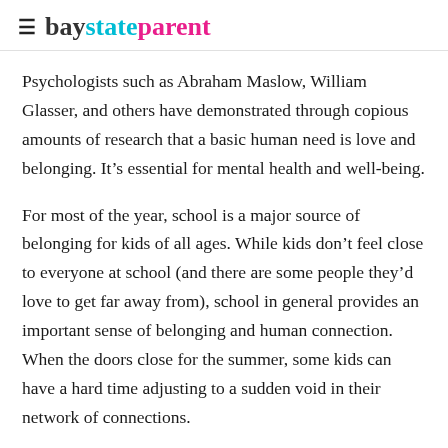baystateparent
Psychologists such as Abraham Maslow, William Glasser, and others have demonstrated through copious amounts of research that a basic human need is love and belonging. It’s essential for mental health and well-being.
For most of the year, school is a major source of belonging for kids of all ages. While kids don’t feel close to everyone at school (and there are some people they’d love to get far away from), school in general provides an important sense of belonging and human connection. When the doors close for the summer, some kids can have a hard time adjusting to a sudden void in their network of connections.